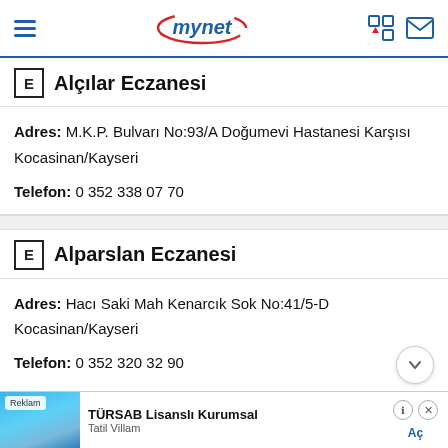mynet
Alçılar Eczanesi
Adres: M.K.P. Bulvarı No:93/A Doğumevi Hastanesi Karşısı Kocasinan/Kayseri
Telefon: 0 352 338 07 70
Alparslan Eczanesi
Adres: Hacı Saki Mah Kenarcık Sok No:41/5-D Kocasinan/Kayseri
Telefon: 0 352 320 32 90
[Figure (screenshot): Advertisement banner for TÜRSAB Lisanslı Kurumsal - Tatil Villam]